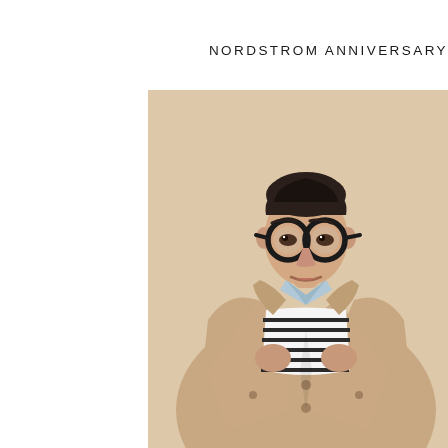NORDSTROM ANNIVERSARY
[Figure (photo): A man wearing large round black-framed glasses, a beige/tan trench coat open over a black and white horizontal striped sweater and a light blue collared shirt, holding the lapels of his coat. He has dark hair styled upward. The background is a warm beige/cream color. The image is cropped showing him from approximately the waist up, positioned to the right of center.]